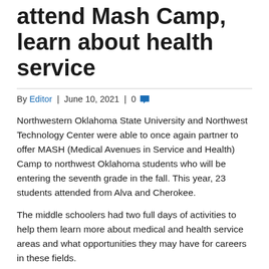attend Mash Camp, learn about health service
By Editor | June 10, 2021 | 0
Northwestern Oklahoma State University and Northwest Technology Center were able to once again partner to offer MASH (Medical Avenues in Service and Health) Camp to northwest Oklahoma students who will be entering the seventh grade in the fall. This year, 23 students attended from Alva and Cherokee.
The middle schoolers had two full days of activities to help them learn more about medical and health service areas and what opportunities they may have for careers in these fields.
“Northwestern and Northwest Technology Center were excited to get MASH Camp started again this summer,” said Dr. Bo Hannaford, executive vice president at Northwestern. “Having a summer off due to COVID and the uncertainty of where we would be this summer, we loved having the students on both of our